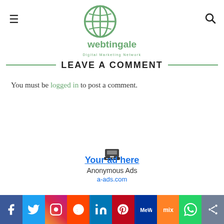webtingale Digital Marketing Network
LEAVE A COMMENT
You must be logged in to post a comment.
[Figure (other): Anonymous ad placeholder with typewriter icon, 'Your ad here' link, 'Anonymous Ads', 'a-ads.com']
[Figure (other): Social sharing bar with Facebook, Twitter, Instagram, Reddit, LinkedIn, Pinterest, MeWe, Mix, WhatsApp, More icons]